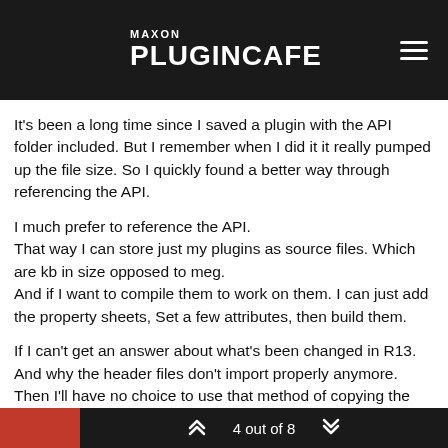MAXON PLUGINCAFE
It's been a long time since I saved a plugin with the API folder included. But I remember when I did it it really pumped up the file size. So I quickly found a better way through referencing the API.
I much prefer to reference the API.
That way I can store just my plugins as source files. Which are kb in size opposed to meg.
And if I want to compile them to work on them. I can just add the property sheets, Set a few attributes, then build them.
If I can't get an answer about what's been changed in R13. And why the header files don't import properly anymore. Then I'll have no choice to use that method of copying the SDK and cutting things out. But Blech...I really hate that method. 🙂
4 out of 8